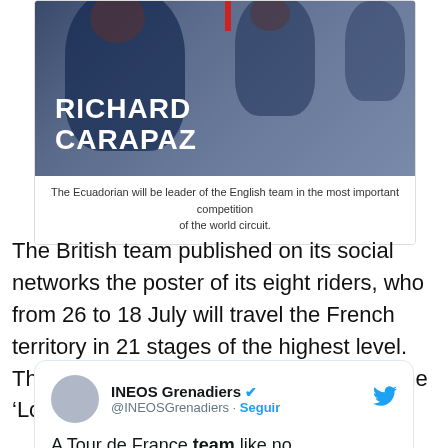[Figure (photo): Photo of Richard Carapaz in cycling gear with name overlay in white bold text on dark background]
The Ecuadorian will be leader of the English team in the most important competition of the world circuit.
The British team published on its social networks the poster of its eight riders, who from 26 to 18 July will travel the French territory in 21 stages of the highest level. This will be the second edition in which the ‘Locomotive Carchense’ acts.
INEOS Grenadiers @INEOSGrenadiers · Seguir
A Tour de France team like no